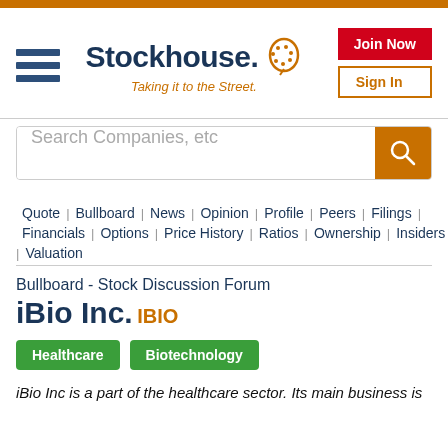Stockhouse — Taking it to the Street.
Search Companies, etc
Quote | Bullboard | News | Opinion | Profile | Peers | Filings | Financials | Options | Price History | Ratios | Ownership | Insiders | Valuation
Bullboard - Stock Discussion Forum
iBio Inc. IBIO
Healthcare  Biotechnology
iBio Inc is a part of the healthcare sector. Its main business is